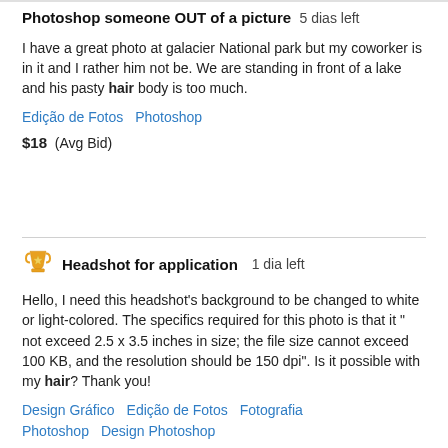Photoshop someone OUT of a picture  5 dias left
I have a great photo at galacier National park but my coworker is in it and I rather him not be. We are standing in front of a lake and his pasty hair body is too much.
Edição de Fotos  Photoshop
$18  (Avg Bid)
Headshot for application  1 dia left
Hello, I need this headshot's background to be changed to white or light-colored. The specifics required for this photo is that it " not exceed 2.5 x 3.5 inches in size; the file size cannot exceed 100 KB, and the resolution should be 150 dpi". Is it possible with my hair? Thank you!
Design Gráfico  Edição de Fotos  Fotografia  Photoshop  Design Photoshop